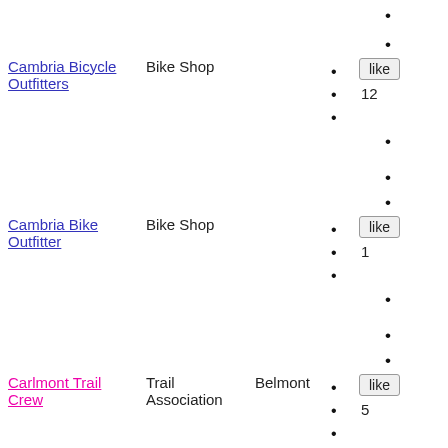•
Cambria Bicycle Outfitters | Bike Shop | like | 12
Cambria Bike Outfitter | Bike Shop | like | 1
Carlmont Trail Crew | Trail Association | Belmont | like | 5